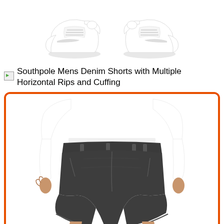[Figure (photo): Two white Nike sneakers/shoes shown from the side, photographed against a white background, cropped at the top of the page.]
Southpole Mens Denim Shorts with Multiple Horizontal Rips and Cuffing
[Figure (photo): A man wearing dark charcoal/black shorts (Southpole brand) with a white long-sleeve shirt, shown from behind/side angle. The product image is framed with a thick orange rounded border.]